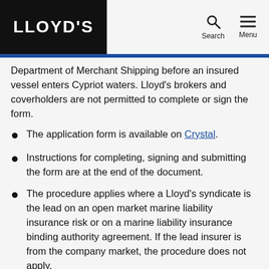LLOYD'S
Department of Merchant Shipping before an insured vessel enters Cypriot waters. Lloyd's brokers and coverholders are not permitted to complete or sign the form.
The application form is available on Crystal.
Instructions for completing, signing and submitting the form are at the end of the document.
The procedure applies where a Lloyd's syndicate is the lead on an open market marine liability insurance risk or on a marine liability insurance binding authority agreement. If the lead insurer is from the company market, the procedure does not apply.
The procedure does not apply to marine liability